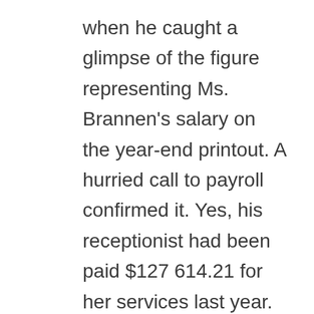when he caught a glimpse of the figure representing Ms. Brannen's salary on the year-end printout. A hurried call to payroll confirmed it. Yes, his receptionist had been paid $127 614.21 for her services last year. As he sat in stunned silence, he had the sudden realization that since his firm was doing so well this year, she would earn at least 10 to 15 percent more money during the current fiscal year. This was a shock, indeed.
Background